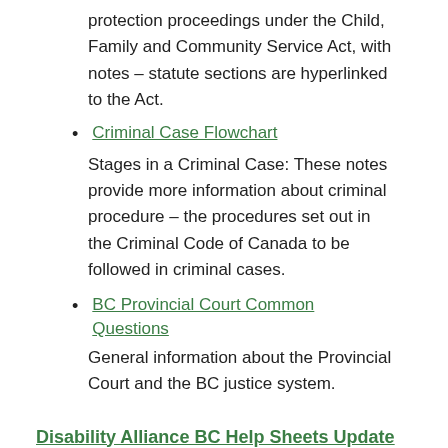protection proceedings under the Child, Family and Community Service Act, with notes – statute sections are hyperlinked to the Act.
Criminal Case Flowchart
Stages in a Criminal Case: These notes provide more information about criminal procedure – the procedures set out in the Criminal Code of Canada to be followed in criminal cases.
BC Provincial Court Common Questions
General information about the Provincial Court and the BC justice system.
Disability Alliance BC Help Sheets Update
The following help sheets on BC's disability benefits have been updated: